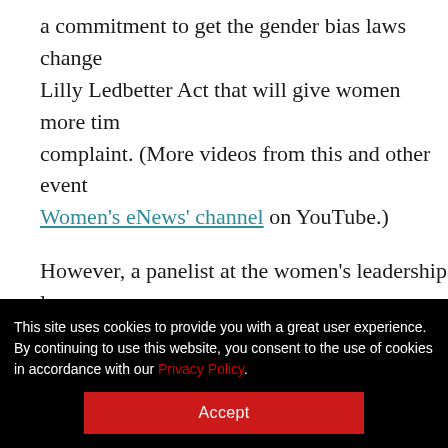a commitment to get the gender bias laws changed. The Lilly Ledbetter Act that will give women more time to file a complaint. (More videos from this and other events on Women's eNews' channel on YouTube.)
However, a panelist at the women's leadership luncheon rejected the short-hand term for the two generations. Malika Saada Saar, executive director of the Rebecca Project for Human Rights, who served on Obama's women's policy committee during the campaign, used the designation of Jordan generation to convey how the previous generation provided leadership through...
This site uses cookies to provide you with a great user experience. By continuing to use this website, you consent to the use of cookies in accordance with our Privacy Policy.